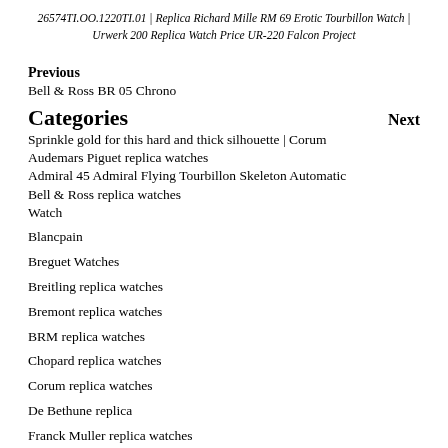26574TI.OO.1220TI.01 | Replica Richard Mille RM 69 Erotic Tourbillon Watch | Urwerk 200 Replica Watch Price UR-220 Falcon Project
Previous
Bell & Ross BR 05 Chrono
Categories
Next
Sprinkle gold for this hard and thick silhouette | Corum Admiral 45 Admiral Flying Tourbillon Skeleton Automatic Watch
Audemars Piguet replica watches
Bell & Ross replica watches
Blancpain
Breguet Watches
Breitling replica watches
Bremont replica watches
BRM replica watches
Chopard replica watches
Corum replica watches
De Bethune replica
Franck Muller replica watches
Girard-Perregaux replica watches